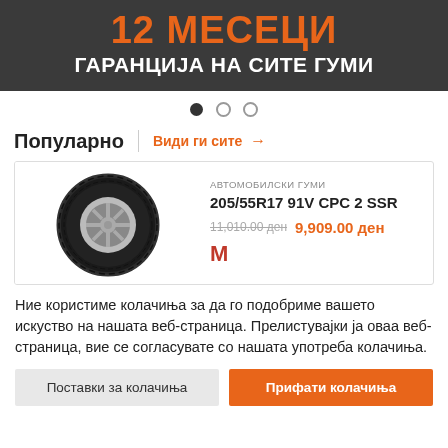[Figure (screenshot): Dark banner with orange '12 МЕСЕЦИ' heading and white 'ГАРАНЦИЈА НА СИТЕ ГУМИ' subtitle text]
[Figure (infographic): Carousel navigation dots: one filled black, two empty circles]
Популарно
Види ги сите →
[Figure (photo): A black car tire (205/55R17 91V CPC 2 SSR) shown on a rim, product listing card with old price 11,010.00 ден and new price 9,909.00 ден]
Ние користиме колачиња за да го подобриме вашето искуство на нашата веб-страница. Прелистувајки ја оваа веб-страница, вие се согласувате со нашата употреба колачиња.
Поставки за колачиња
Прифати колачиња